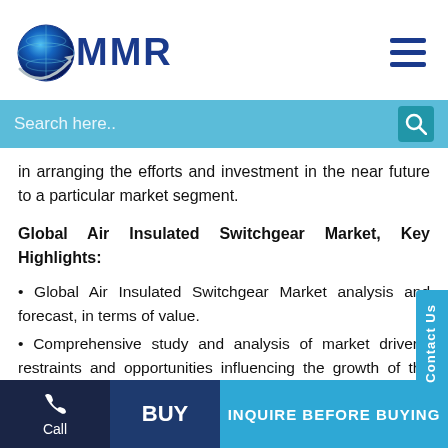[Figure (logo): MMR (Maximize Market Research) logo with globe icon and blue MMR text]
in arranging the efforts and investment in the near future to a particular market segment.
Global Air Insulated Switchgear Market, Key Highlights:
• Global Air Insulated Switchgear Market analysis and forecast, in terms of value.
• Comprehensive study and analysis of market drivers, restraints and opportunities influencing the growth of the Global Air Insulated Switchgear Market
• Global Air Insulated Switchgear Market segmentation on the basis of type, source, end-user, and region (country-wise) has been provided.
• Global Air Insulated Switchgear Market strategic
Call | BUY | INQUIRE BEFORE BUYING